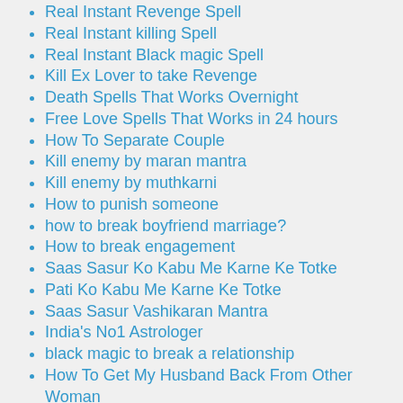Real Instant Revenge Spell
Real Instant killing Spell
Real Instant Black magic Spell
Kill Ex Lover to take Revenge
Death Spells That Works Overnight
Free Love Spells That Works in 24 hours
How To Separate Couple
Kill enemy by maran mantra
Kill enemy by muthkarni
How to punish someone
how to break boyfriend marriage?
How to break engagement
Saas Sasur Ko Kabu Me Karne Ke Totke
Pati Ko Kabu Me Karne Ke Totke
Saas Sasur Vashikaran Mantra
India's No1 Astrologer
black magic to break a relationship
How To Get My Husband Back From Other Woman
Photo Vashikaran mantra
how to stop extra marital affairs
vashikaran to stop boyfriend extra affair with another girlwomen
How to stop boyfriend affair with another girl